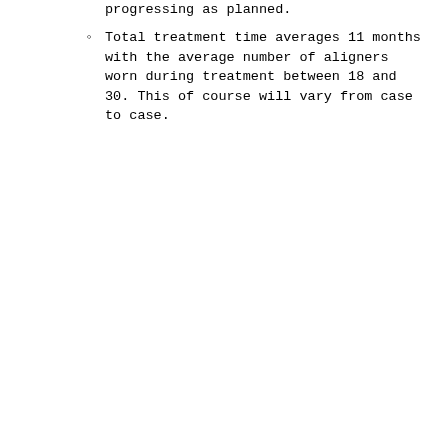progressing as planned.
Total treatment time averages 11 months with the average number of aligners worn during treatment between 18 and 30. This of course will vary from case to case.